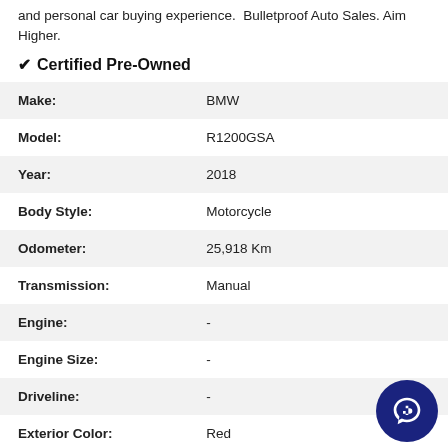and personal car buying experience. Bulletproof Auto Sales. Aim Higher.
✔ Certified Pre-Owned
| Field | Value |
| --- | --- |
| Make: | BMW |
| Model: | R1200GSA |
| Year: | 2018 |
| Body Style: | Motorcycle |
| Odometer: | 25,918 Km |
| Transmission: | Manual |
| Engine: | - |
| Engine Size: | - |
| Driveline: | - |
| Exterior Color: | Red |